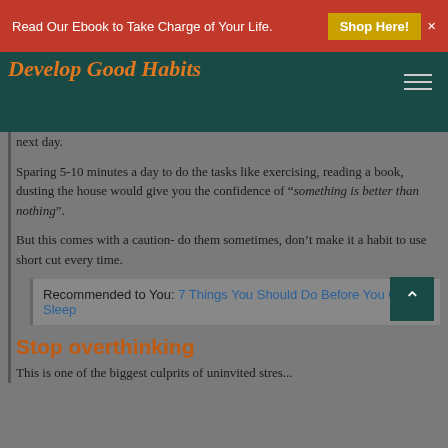Read Our Ebook to Take Charge of Your Life. Shop Here!
next day.
Sparing 5-10 minutes a day to do the tasks like exercising, reading a book, dusting the house would give you the confidence of “something is better than nothing”.
But this comes with a caution- do them sometimes, don’t make it a habit to use short cut every time.
Recommended to You: 7 Things You Should Do Before You Go To Sleep
Stop overthinking
This is one of the biggest culprits of uninvited stres...